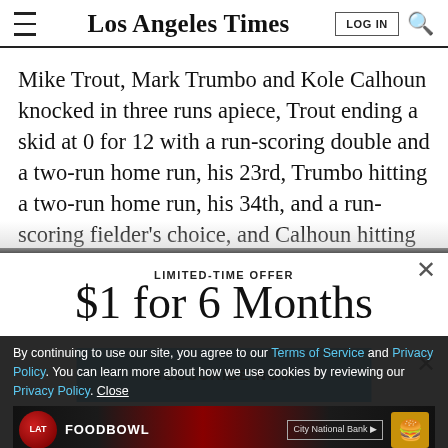Los Angeles Times
Mike Trout, Mark Trumbo and Kole Calhoun knocked in three runs apiece, Trout ending a skid at 0 for 12 with a run-scoring double and a two-run home run, his 23rd, Trumbo hitting a two-run home run, his 34th, and a run-scoring fielder's choice, and Calhoun hitting a run-
LIMITED-TIME OFFER
$1 for 6 Months
SUBSCRIBE NOW
By continuing to use our site, you agree to our Terms of Service and Privacy Policy. You can learn more about how we use cookies by reviewing our Privacy Policy. Close